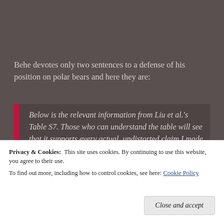Behe devotes only two sentences to a defense of his position on polar bears and here they are:
Below is the relevant information from Liu et al.'s Table S7. Those who can understand the table will see that it supports every actual, undistorted claim I made about the polar bear.
Privacy & Cookies: This site uses cookies. By continuing to use this website, you agree to their use. To find out more, including how to control cookies, see here: Cookie Policy